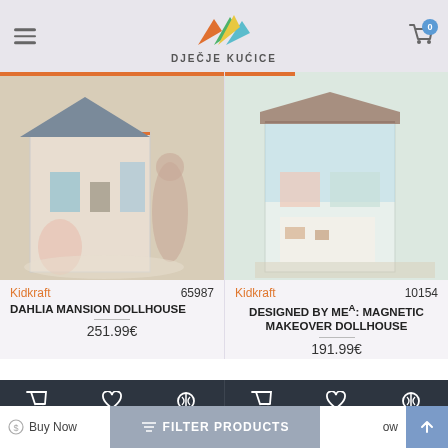DJEČJE KUĆICE
[Figure (photo): Girl playing with Dahlia Mansion Dollhouse toy]
Kidkraft   65987
DAHLIA MANSION DOLLHOUSE
251.99€
[Figure (photo): Designed by Me Magnetic Makeover Dollhouse toy]
Kidkraft   10154
DESIGNED BY ME®: MAGNETIC MAKEOVER DOLLHOUSE
191.99€
Buy Now   FILTER PRODUCTS   ow